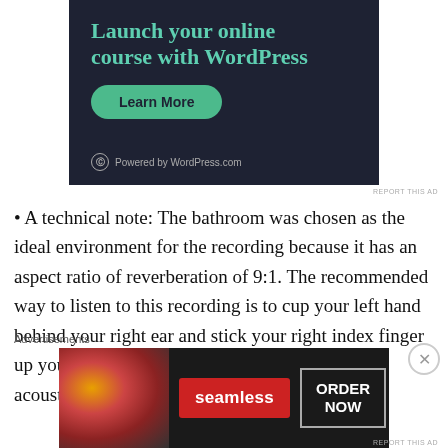[Figure (other): Advertisement banner for WordPress online course with dark navy background, teal headline 'Launch your online course with WordPress', green 'Learn More' button, and WordPress.com powered logo]
REPORT THIS AD
A technical note: The bathroom was chosen as the ideal environment for the recording because it has an aspect ratio of reverberation of 9:1. The recommended way to listen to this recording is to cup your left hand behind your right ear and stick your right index finger up your left nostril. This will bring the beautiful acoustics of our
Advertisements
[Figure (other): Seamless food delivery advertisement showing pizza image on left, red Seamless logo in center, and 'ORDER NOW' button on right, dark background]
REPORT THIS AD